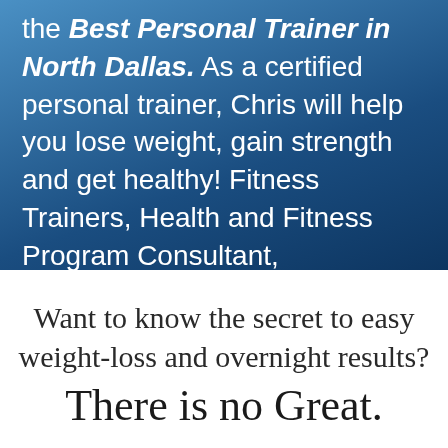the Best Personal Trainer in North Dallas. As a certified personal trainer, Chris will help you lose weight, gain strength and get healthy! Fitness Trainers, Health and Fitness Program Consultant,
Want to know the secret to easy weight-loss and overnight results? There is no Great.